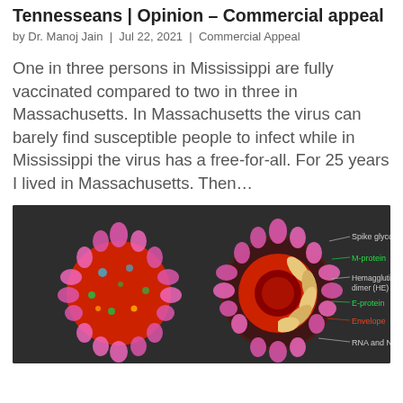Tennesseans | Opinion – Commercial appeal
by Dr. Manoj Jain | Jul 22, 2021 | Commercial Appeal
One in three persons in Mississippi are fully vaccinated compared to two in three in Massachusetts. In Massachusetts the virus can barely find susceptible people to infect while in Mississippi the virus has a free-for-all. For 25 years I lived in Massachusetts. Then…
[Figure (illustration): Scientific illustration of coronavirus structure showing two views: an external view (left) and a cross-sectional cutaway view (right), with labeled components including Spike glycoprotein (S), M-protein, Hemagglutinin-esterase dimer (HE), E-protein, Envelope, and RNA and N protein. The virus is depicted against a dark background with pink spikes, red body, and colorful internal details.]